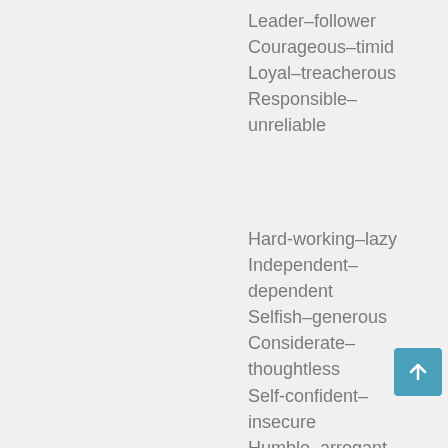Leader–follower
Courageous–timid
Loyal–treacherous
Responsible–unreliable
Hard-working–lazy
Independent–dependent
Selfish–generous
Considerate–thoughtless
Self-confident–insecure
Humble–arrogant